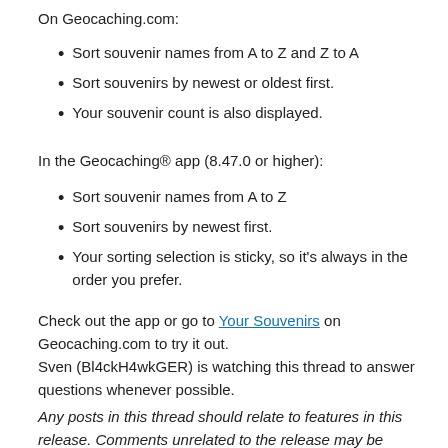On Geocaching.com:
Sort souvenir names from A to Z and Z to A
Sort souvenirs by newest or oldest first.
Your souvenir count is also displayed.
In the Geocaching® app (8.47.0 or higher):
Sort souvenir names from A to Z
Sort souvenirs by newest first.
Your sorting selection is sticky, so it's always in the order you prefer.
Check out the app or go to Your Souvenirs on Geocaching.com to try it out.
Sven (Bl4ckH4wkGER) is watching this thread to answer questions whenever possible.
Any posts in this thread should relate to features in this release. Comments unrelated to the release may be removed. Please direct